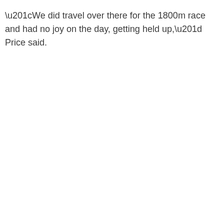“We did travel over there for the 1800m race and had no joy on the day, getting held up,” Price said.